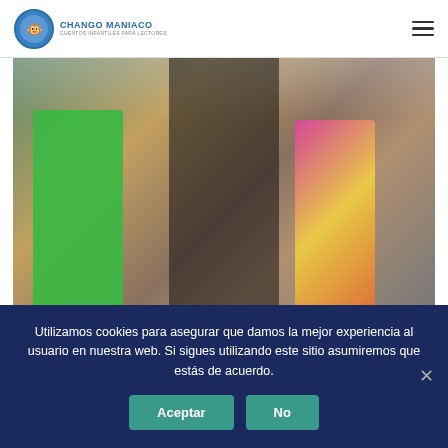CHANGO MANIACO
[Figure (photo): Two children from behind, one in green shirt and one in colorful tie-dye top, appearing to hold hands or shake hands outdoors near a mural or colorful background]
The two children walked home in the rain. Then the sun came out. “Look!” said Matthew. “There’s a rainbow!” “Great!” said Holly. “That’s what I can paint!” And she went
Utilizamos cookies para asegurar que damos la mejor experiencia al usuario en nuestra web. Si sigues utilizando este sitio asumiremos que estás de acuerdo.